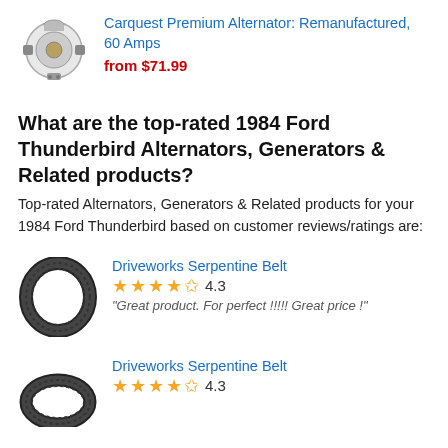[Figure (photo): Alternator product image]
Carquest Premium Alternator: Remanufactured, 60 Amps
from $71.99
What are the top-rated 1984 Ford Thunderbird Alternators, Generators & Related products?
Top-rated Alternators, Generators & Related products for your 1984 Ford Thunderbird based on customer reviews/ratings are:
[Figure (photo): Driveworks Serpentine Belt product image]
Driveworks Serpentine Belt
4.3
"Great product. For perfect !!!!! Great price !"
[Figure (photo): Driveworks Serpentine Belt product image second]
Driveworks Serpentine Belt
4.3